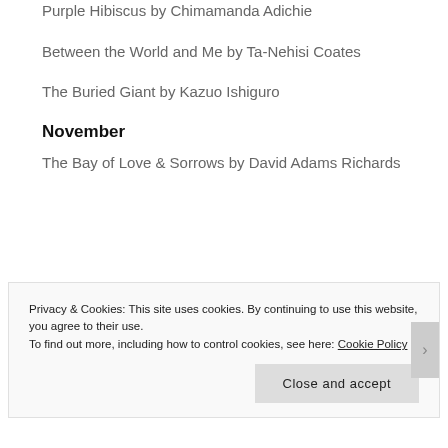Purple Hibiscus by Chimamanda Adichie
Between the World and Me by Ta-Nehisi Coates
The Buried Giant by Kazuo Ishiguro
November
The Bay of Love & Sorrows by David Adams Richards
Privacy & Cookies: This site uses cookies. By continuing to use this website, you agree to their use.
To find out more, including how to control cookies, see here: Cookie Policy
Close and accept